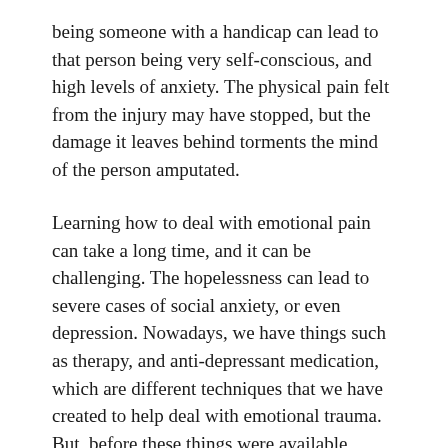being someone with a handicap can lead to that person being very self-conscious, and high levels of anxiety. The physical pain felt from the injury may have stopped, but the damage it leaves behind torments the mind of the person amputated.
Learning how to deal with emotional pain can take a long time, and it can be challenging. The hopelessness can lead to severe cases of social anxiety, or even depression. Nowadays, we have things such as therapy, and anti-depressant medication, which are different techniques that we have created to help deal with emotional trauma. But, before these things were available, people had to get very creative in dealing with their emotional trauma.
In American history, no other faction of people have been on the receiving end of torment and